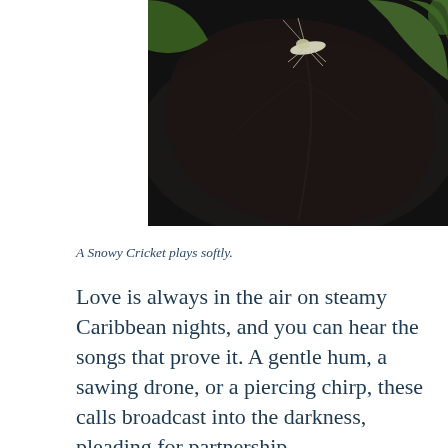[Figure (photo): Close-up photograph of a Snowy Cricket on a dark leaf with green foliage in the background]
A Snowy Cricket plays softly.
Love is always in the air on steamy Caribbean nights, and you can hear the songs that prove it. A gentle hum, a sawing drone, or a piercing chirp, these calls broadcast into the darkness, pleading for partnership.
A nocturnal lifestyle has certain advantages here on St. Martin, especially if you are very small. Birds and lizards are dangerous predators to the insects and tiny frogs living on the island. One way to escape their prying